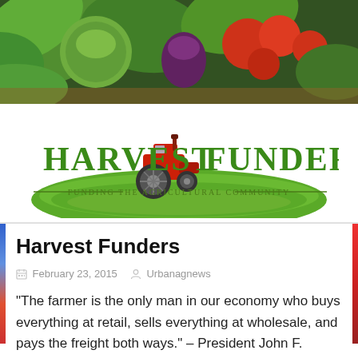[Figure (photo): Header banner photo showing colorful fresh vegetables including artichokes, tomatoes, beets, lettuce, and other produce in a basket]
[Figure (logo): Harvest Funders logo with red tractor on green field, text reading HARVEST FUNDERS and tagline FUNDING THE AGRICULTURAL COMMUNITY]
Harvest Funders
February 23, 2015   Urbanagnews
“The farmer is the only man in our economy who buys everything at retail, sells everything at wholesale, and pays the freight both ways.” – President John F. Kennedy Let’s help support the people who put food on our tables! HarvestFunders.com is a crowdfunding website specifically designed to help provide the agricultural community with nonconventional funding for conventional